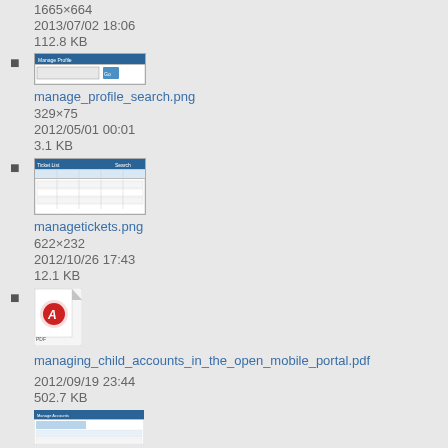1665×664
2013/07/02 18:06
112.8 KB
manage_profile_search.png
329×75
2012/05/01 00:01
3.1 KB
managetickets.png
622×232
2012/10/26 17:43
12.1 KB
managing_child_accounts_in_the_open_mobile_portal.pdf
2012/09/19 23:44
502.7 KB
[Figure (screenshot): Bottom thumbnail screenshot of a software interface]